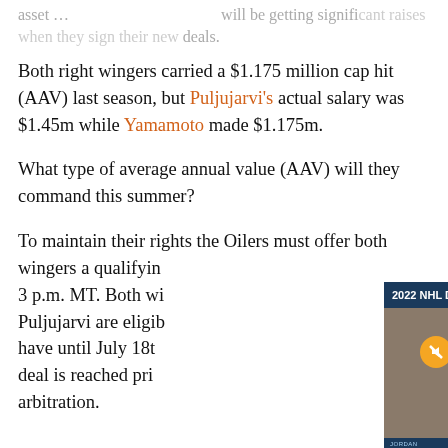asset ... will be getting significant raises when they sign their new deals.
Both right wingers carried a $1.175 million cap hit (AAV) last season, but Puljujarvi's actual salary was $1.45m while Yamamoto made $1.175m.
What type of average annual value (AAV) will they command this summer?
To maintain their rights the Oilers must offer both wingers a qualifying offer by June 25th at 3 p.m. MT. Both wingers and... Puljujarvi are eligible... have until July 18th... deal is reached prior... arbitration.
[Figure (screenshot): Video overlay showing '2022 NHL Draft 1-on-1 – Jordan Gustafs...' with an interview video of Jordan Gustafson and a WHL logo, mute button, notification badge of 41, and chat icon.]